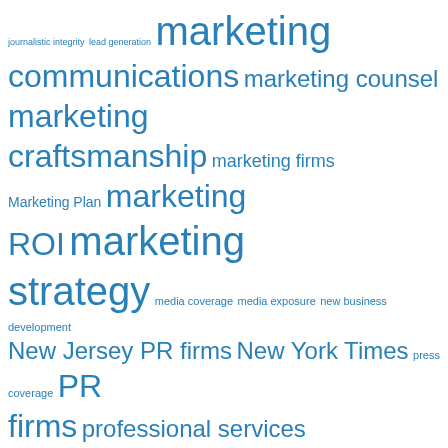[Figure (infographic): Tag cloud with marketing, PR, and communications related keywords in varying font sizes, all in blue color. Tags include: journalistic integrity, lead generation, marketing communications, marketing counsel, marketing craftsmanship, marketing firms, Marketing Plan, marketing ROI, marketing strategy, media coverage, media exposure, new business development, New Jersey PR firms, New York Times, press coverage, PR firms, professional services marketing, PR strategy, public relations, public relations firms, public relations strategy, sales & marketing, sales & marketing alignment, sales strategy, sales tactics, selling professional services, social media, top-of-mind awareness, TOPA, Twitter, Wall Street Journal, web content, website]